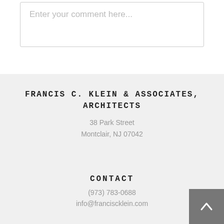Enter your comment here...
FRANCIS C. KLEIN & ASSOCIATES, ARCHITECTS
38 Park Street
Montclair, NJ 07042
CONTACT
(973) 783-0688
info@franciscklein.com